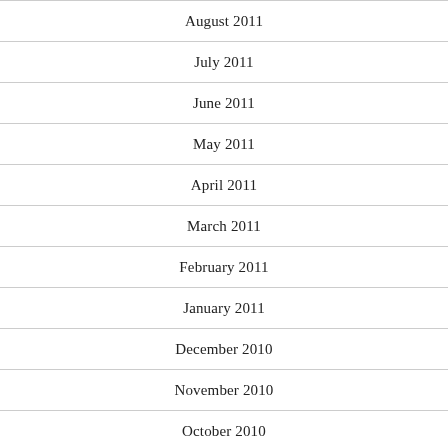August 2011
July 2011
June 2011
May 2011
April 2011
March 2011
February 2011
January 2011
December 2010
November 2010
October 2010